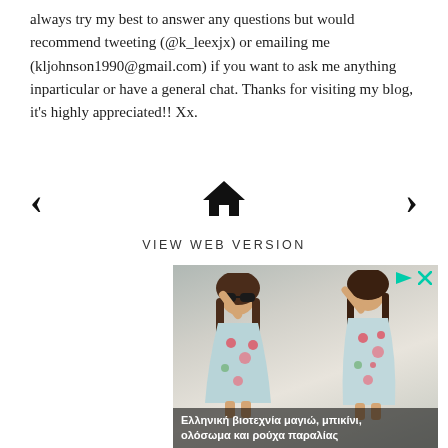always try my best to answer any questions but would recommend tweeting (@k_leexjx) or emailing me (kljohnson1990@gmail.com) if you want to ask me anything inparticular or have a general chat. Thanks for visiting my blog, it's highly appreciated!! Xx.
[Figure (other): Navigation bar with left arrow, home icon, and right arrow]
VIEW WEB VERSION
[Figure (photo): Advertisement showing two photos of a woman in a floral dress with sunglasses, with Greek text 'Ελληνική βιοτεχνία μαγιώ, μπικίνι, ολόσωμα και ρούχα παραλίας' and a play/close button badge in the top right.]